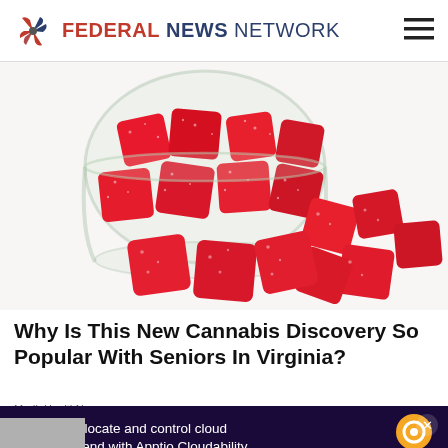FEDERAL NEWS NETWORK
[Figure (photo): A glass jar tipped over spilling red sugar-coated cannabis gummy candy pieces on a white background]
Why Is This New Cannabis Discovery So Popular With Seniors In Virginia?
Forecast, allocate and control cloud program spend with Apptio Cloudability